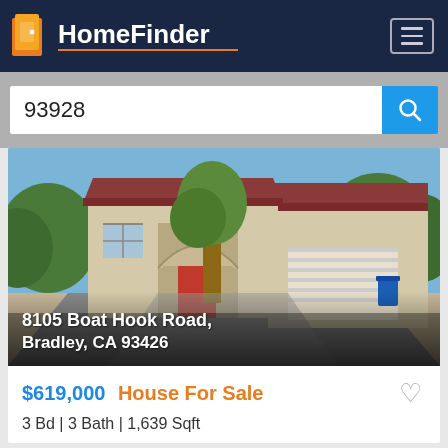[Figure (logo): HomeFinder app logo with orange door icon and white text on dark navy background with orange underline]
93928
[Figure (photo): Exterior photo of a two-story house with red door, stone archway entrance, beige siding, red roof, and two-car garage, with trees in background]
8105 Boat Hook Road, Bradley, CA 93426
$619,000 House For Sale
3 Bd | 3 Bath | 1,639 Sqft